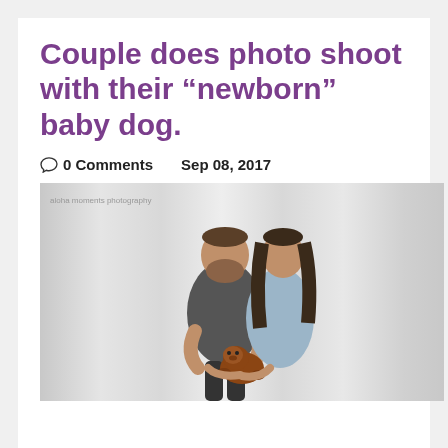Couple does photo shoot with their “newborn” baby dog.
0 Comments   Sep 08, 2017
[Figure (photo): A couple standing together, smiling at each other, holding a small brown puppy (looks like a doodle breed). They are photographed against a light, sheer curtain background. Photo credit: aloha moments photography.]